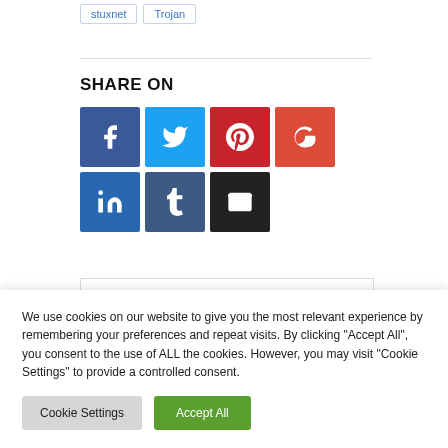stuxnet
Trojan
SHARE ON
[Figure (infographic): Social share buttons: Facebook, Twitter, Pinterest, Google+, LinkedIn, Tumblr, Email]
We use cookies on our website to give you the most relevant experience by remembering your preferences and repeat visits. By clicking "Accept All", you consent to the use of ALL the cookies. However, you may visit "Cookie Settings" to provide a controlled consent.
Cookie Settings | Accept All